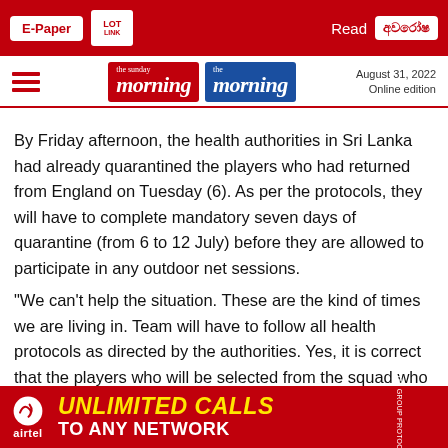E-Paper | the sunday morning | the morning | August 31, 2022 Online edition
By Friday afternoon, the health authorities in Sri Lanka had already quarantined the players who had returned from England on Tuesday (6). As per the protocols, they will have to complete mandatory seven days of quarantine (from 6 to 12 July) before they are allowed to participate in any outdoor net sessions.
“We can’t help the situation. These are the kind of times we are living in. Team will have to follow all health protocols as directed by the authorities. Yes, it is correct that the players who will be selected from the squad who were in England, are unlikely to get net session before the first game against India (on Tue... ya Wickra... de
[Figure (other): Airtel advertisement banner: UNLIMITED CALLS TO ANY NETWORK]